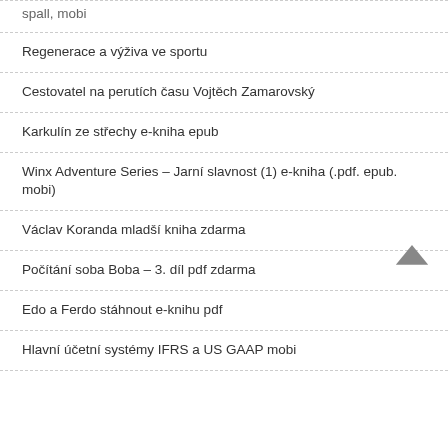spall, mobi
Regenerace a výživa ve sportu
Cestovatel na perutích času Vojtěch Zamarovský
Karkulín ze střechy e-kniha epub
Winx Adventure Series – Jarní slavnost (1) e-kniha (.pdf. epub. mobi)
Václav Koranda mladší kniha zdarma
Počítání soba Boba – 3. díl pdf zdarma
Edo a Ferdo stáhnout e-knihu pdf
Hlavní účetní systémy IFRS a US GAAP mobi